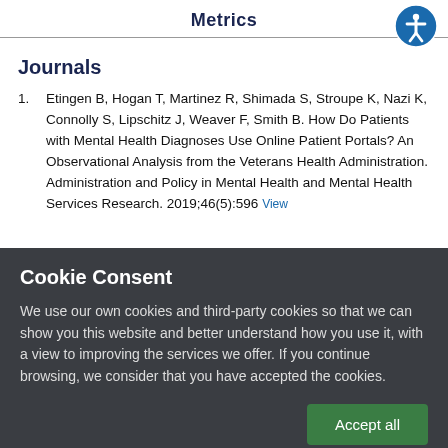Metrics
Journals
Etingen B, Hogan T, Martinez R, Shimada S, Stroupe K, Nazi K, Connolly S, Lipschitz J, Weaver F, Smith B. How Do Patients with Mental Health Diagnoses Use Online Patient Portals? An Observational Analysis from the Veterans Health Administration. Administration and Policy in Mental Health and Mental Health Services Research. 2019;46(5):596 View
Cookie Consent
We use our own cookies and third-party cookies so that we can show you this website and better understand how you use it, with a view to improving the services we offer. If you continue browsing, we consider that you have accepted the cookies.